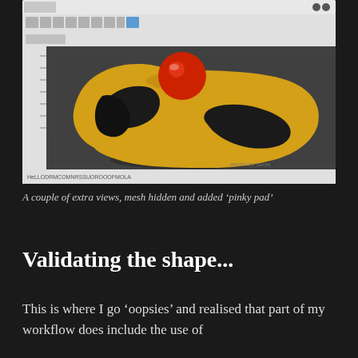[Figure (screenshot): A 3D CAD/sculpting software screenshot showing a yellow and black organic-shaped object (resembling a mouse or ergonomic pad) with a red sphere on top. The software interface shows toolbar and menu bar at top, with a dark background.]
A couple of extra views, mesh hidden and added ‘pinky pad’
Validating the shape...
This is where I go ‘oopsies’ and realised that part of my workflow does include the use of